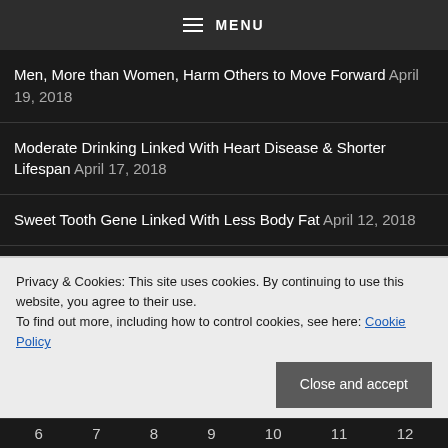MENU
Men, More than Women, Harm Others to Move Forward April 19, 2018
Moderate Drinking Linked With Heart Disease & Shorter Lifespan April 17, 2018
Sweet Tooth Gene Linked With Less Body Fat April 12, 2018
News Calendar
Privacy & Cookies: This site uses cookies. By continuing to use this website, you agree to their use.
To find out more, including how to control cookies, see here: Cookie Policy
Close and accept
6  7  8  9  10  11  12